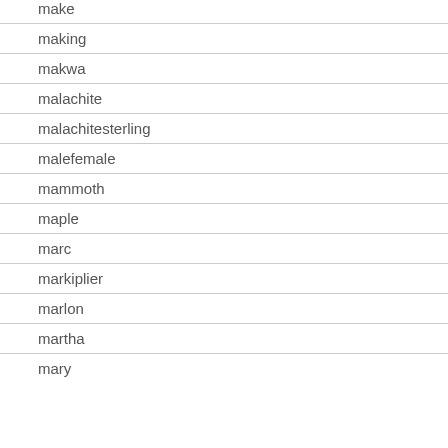make
making
makwa
malachite
malachitesterling
malefemale
mammoth
maple
marc
markiplier
marlon
martha
mary